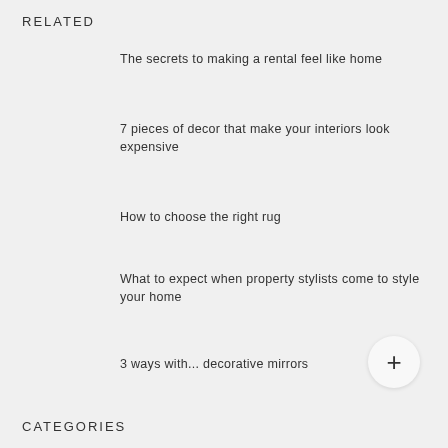RELATED
The secrets to making a rental feel like home
7 pieces of decor that make your interiors look expensive
How to choose the right rug
What to expect when property stylists come to style your home
3 ways with... decorative mirrors
CATEGORIES